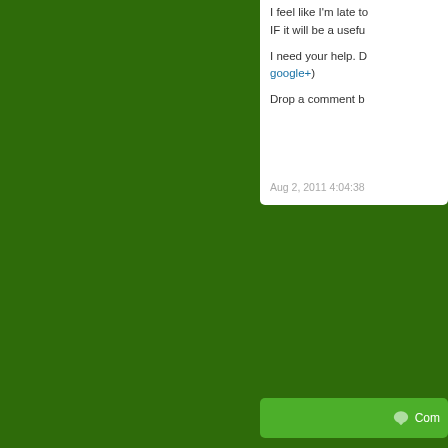I feel like I'm late to IF it will be a usefu
I need your help. D google+)
Drop a comment b
Aug 2, 2011 4:04:38
Com
Communic
While the message communicate the m
@natwivity is one s characters or less.